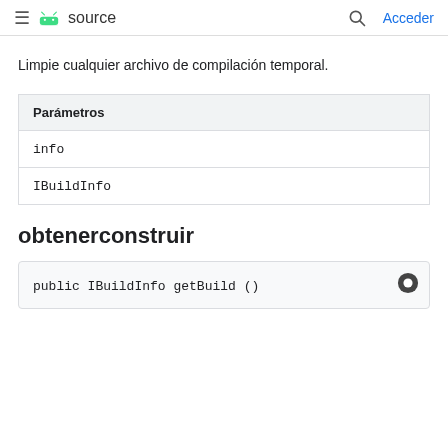≡ source  Acceder
Limpie cualquier archivo de compilación temporal.
| Parámetros |
| --- |
| info |
| IBuildInfo |
obtenerconstruir
public IBuildInfo getBuild ()